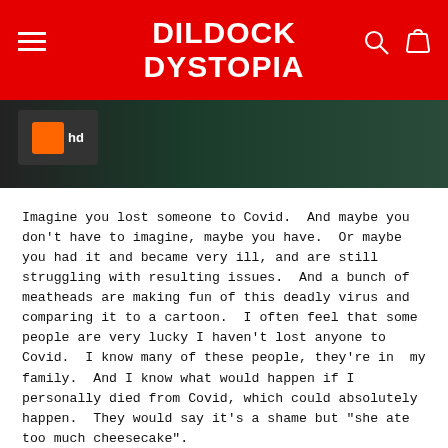DILDOCK DYSTOPIA
[Figure (photo): Dark greenish background with a small orange and white HD badge/logo on the left side, partially cut off at the top of the page.]
Imagine you lost someone to Covid.  And maybe you don't have to imagine, maybe you have.  Or maybe you had it and became very ill, and are still struggling with resulting issues.  And a bunch of meatheads are making fun of this deadly virus and comparing it to a cartoon.  I often feel that some people are very lucky I haven't lost anyone to Covid.  I know many of these people, they're in  my family.  And I know what would happen if I personally died from Covid, which could absolutely happen.  They would say it's a shame but "she ate too much cheesecake".
They would actually throw me, a close family member, under the bus, in order to fluff the conman.  These dangerous young white